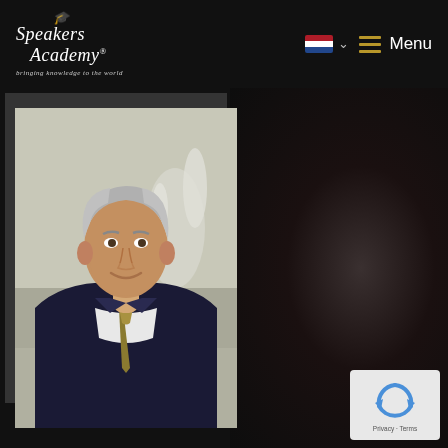[Figure (logo): Speakers Academy logo with mortarboard icon, text 'Speakers Academy®' in italic and tagline 'bringing knowledge to the world']
[Figure (photo): Portrait photo of a middle-aged man with grey-white hair, wearing a dark suit and gold/olive tie, smiling slightly, outdoors with fountain in background]
[Figure (other): reCAPTCHA badge in bottom-right corner showing Google reCAPTCHA logo with 'Privacy - Terms' text]